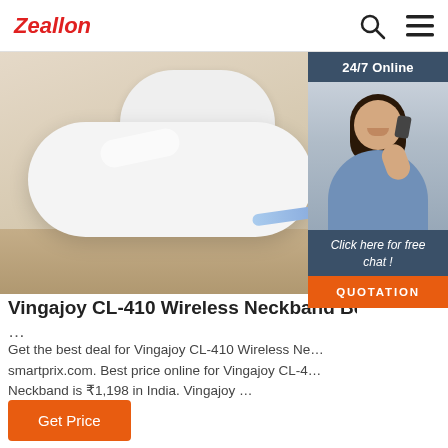Zeallon
[Figure (photo): White wireless earbuds charging case on a wooden surface with a cable inserted, partially overlaid by a 24/7 Online chat widget showing a female customer service agent.]
Vingajoy CL-410 Wireless Neckband Best Pri...
...
Get the best deal for Vingajoy CL-410 Wireless Ne... smartprix.com. Best price online for Vingajoy CL-4... Neckband is ₹1,198 in India. Vingajoy ...
Get Price